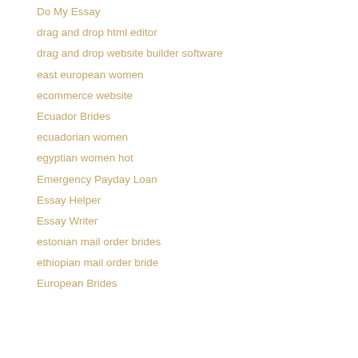Do My Essay
drag and drop html editor
drag and drop website builder software
east european women
ecommerce website
Ecuador Brides
ecuadorian women
egyptian women hot
Emergency Payday Loan
Essay Helper
Essay Writer
estonian mail order brides
ethiopian mail order bride
European Brides